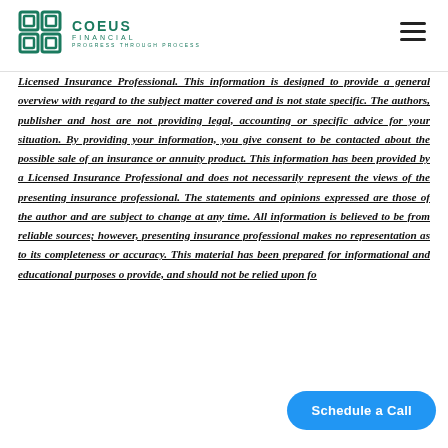COEUS FINANCIAL — PROGRESS THROUGH PROCESS
Licensed Insurance Professional. This information is designed to provide a general overview with regard to the subject matter covered and is not state specific. The authors, publisher and host are not providing legal, accounting or specific advice for your situation. By providing your information, you give consent to be contacted about the possible sale of an insurance or annuity product. This information has been provided by a Licensed Insurance Professional and does not necessarily represent the views of the presenting insurance professional. The statements and opinions expressed are those of the author and are subject to change at any time. All information is believed to be from reliable sources; however, presenting insurance professional makes no representation as to its completeness or accuracy. This material has been prepared for informational and educational purposes o... provide, and should not be relied upon fo...
[Figure (other): Blue rounded rectangle button with white text reading 'Schedule a Call']